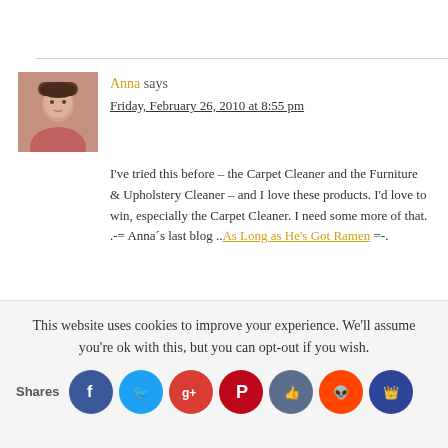Anna says
Friday, February 26, 2010 at 8:55 pm
I've tried this before – the Carpet Cleaner and the Furniture & Upholstery Cleaner – and I love these products. I'd love to win, especially the Carpet Cleaner. I need some more of that.
.-= Anna´s last blog ..As Long as He's Got Ramen =-.
This website uses cookies to improve your experience. We'll assume you're ok with this, but you can opt-out if you wish.